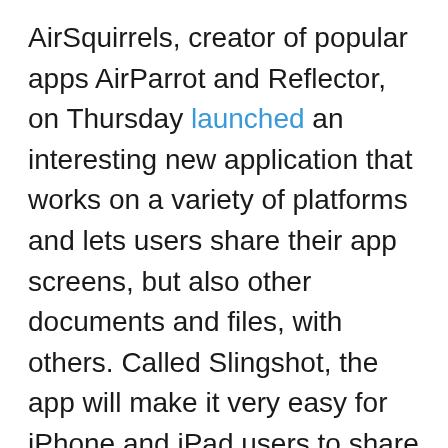AirSquirrels, creator of popular apps AirParrot and Reflector, on Thursday launched an interesting new application that works on a variety of platforms and lets users share their app screens, but also other documents and files, with others. Called Slingshot, the app will make it very easy for iPhone and iPad users to share apps and documents with iOS, Mac, Windows and Android users.
“Share screens, documents and video streams from anywhere there’s a wireless connection,” the company wrote on its website. “Slingshot provides mobile access for users with iOS or